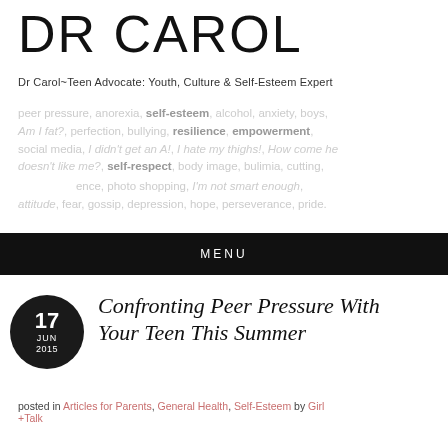DR CAROL
Dr Carol~Teen Advocate: Youth, Culture & Self-Esteem Expert
[Figure (other): Word cloud background with teen-related topics like peer pressure, anorexia, self-esteem, alcohol, anxiety, boys, Am I fat?, perfection, bullying, resilience, empowerment, social media, I didn't get an A!, I hate my thighs!, How come he doesn't like me?, self-respect, body image, bulimia, cutting, depression, confidence, photo shopping, I'm not smart enough, attitude, fear, gossip, depression, hope, perseverance, pride. Overlaid with girl+talk logo.]
MENU
Confronting Peer Pressure With Your Teen This Summer
posted in Articles for Parents, General Health, Self-Esteem by Girl+Talk